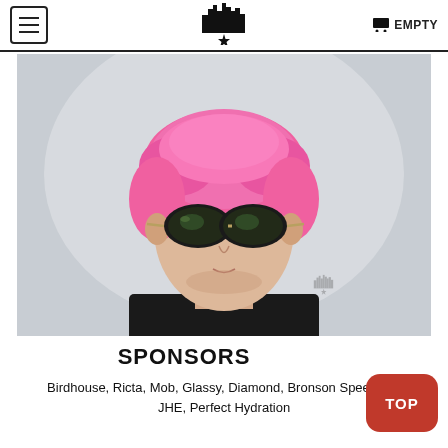EMPTY
[Figure (photo): Portrait photo of a person with bright pink hair, wearing small dark oval sunglasses and a black top, against a light grey background. A watermark logo (city skyline with star) appears in the lower right of the photo.]
SPONSORS
Birdhouse, Ricta, Mob, Glassy, Diamond, Bronson Speed Co, JHE, Perfect Hydration